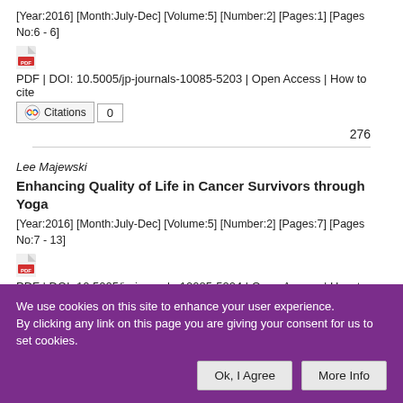[Year:2016] [Month:July-Dec] [Volume:5] [Number:2] [Pages:1] [Pages No:6 - 6]
PDF | DOI: 10.5005/jp-journals-10085-5203 | Open Access | How to cite  Citations  0
276
Lee Majewski
Enhancing Quality of Life in Cancer Survivors through Yoga
[Year:2016] [Month:July-Dec] [Volume:5] [Number:2] [Pages:7] [Pages No:7 - 13]
PDF | DOI: 10.5005/jp-journals-10085-5204 | Open Access | How to cite  Citations  0
We use cookies on this site to enhance your user experience. By clicking any link on this page you are giving your consent for us to set cookies.